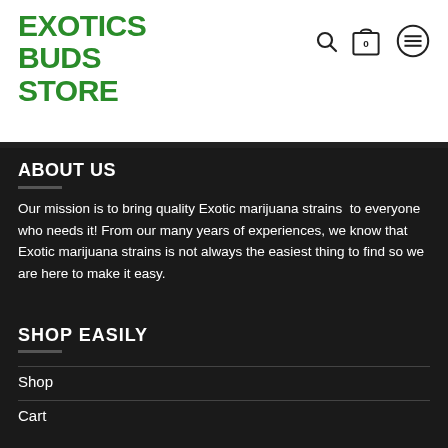EXOTICS BUDS STORE
ABOUT US
Our mission is to bring quality Exotic marijuana strains  to everyone who needs it! From our many years of experiences, we know that Exotic marijuana strains is not always the easiest thing to find so we are here to make it easy.
SHOP EASILY
Shop
Cart